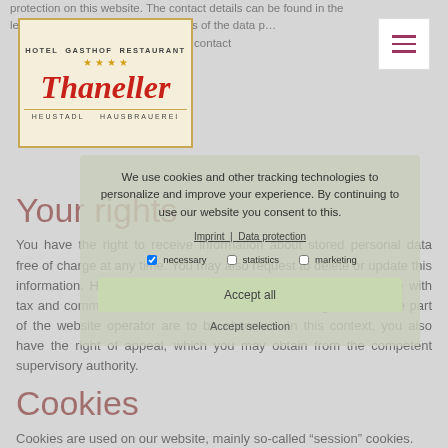protection on this website. The contact details can be found in the legal... The contact details of the data p... ordered, you also receive from the contact
[Figure (logo): Hotel Gasthof Restaurant Thaneller logo with stars, Heustadl Hausbrauerei]
[Figure (other): Hamburger menu icon (three horizontal lines, dark red/purple)]
Your rights
You have the right to receive information about stored personal data free of charge at any time. You may also request to delete or update this information. However, deletions can only be made in accordance with tax and commercial law. Above all, the retention obligations on the part of the website operator are to be observed. In this context, you also have the right of appeal, which you may obtain from the competent supervisory authority.
Cookies
Cookies are used on our website, mainly so-called “session” cookies.
We use cookies and other tracking technologies to personalize and improve your experience. By continuing to use our website you consent to this.
Imprint | Data protection
necessary   statistics   marketing
Accept all
Accept selection